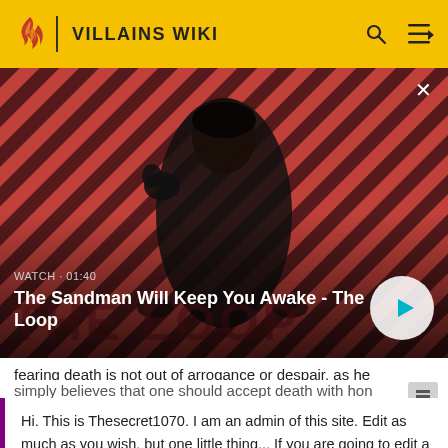VILLAINS WIKI
[Figure (screenshot): Video thumbnail showing a dark-robed figure with a bird on their shoulder against a red and dark diagonal-stripe background. Text overlay: WATCH · 01:40 / The Sandman Will Keep You Awake - The Loop, with a play button on the right.]
fearing death is not out of arrogance or despair, as he
simply believes that one should accept death with hon
Hi. This is Thesecret1070. I am an admin of this site. Edit as much as you wish, but one little thing... If you are going to edit a lot, then make yourself a user and login. Other than that, enjoy Villains Wiki!!!